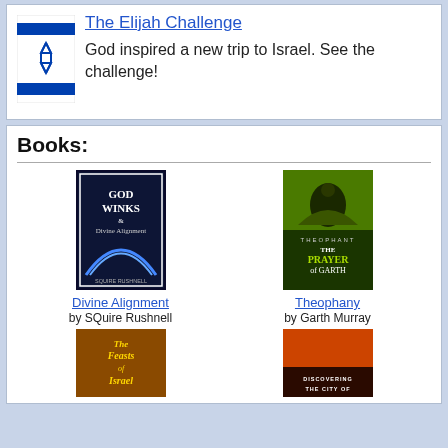[Figure (illustration): Israeli flag with blue stripes and Star of David]
The Elijah Challenge
God inspired a new trip to Israel. See the challenge!
Books:
[Figure (photo): Book cover: God Winks & Divine Alignment by SQuire Rushnell]
[Figure (photo): Book cover: Theophany - The Prayer of Garth by Garth Murray]
Divine Alignment
by SQuire Rushnell
Theophany
by Garth Murray
[Figure (photo): Book cover: The Feasts of Israel]
[Figure (photo): Book cover: Discovering the City of...]